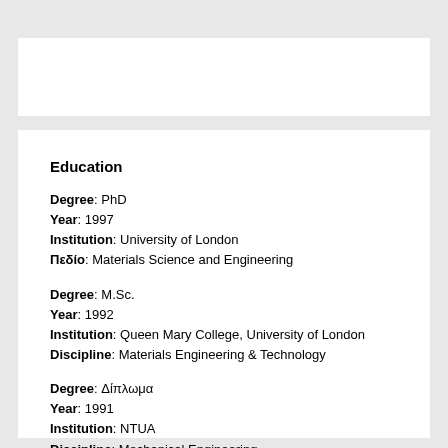Education
Degree: PhD
Year: 1997
Institution: University of London
Πεδίο: Materials Science and Engineering
Degree: M.Sc.
Year: 1992
Institution: Queen Mary College, University of London
Discipline: Materials Engineering & Technology
Degree: Δίπλωμα
Year: 1991
Institution: NTUA
Discipline: Mechanical Engineering